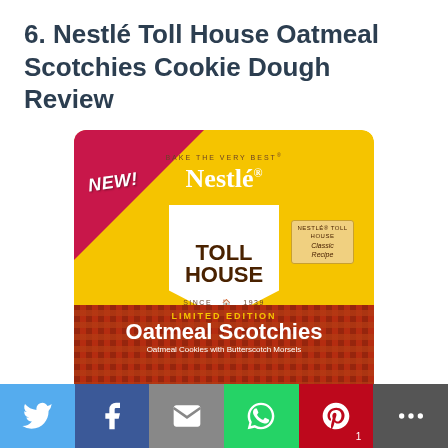6. Nestlé Toll House Oatmeal Scotchies Cookie Dough Review
[Figure (photo): Nestlé Toll House Limited Edition Oatmeal Scotchies Cookie Dough package. Yellow bag with pink/red NEW! banner in top left corner. White shield with TOLL HOUSE branding. Bottom section has plaid pattern with LIMITED EDITION Oatmeal Scotchies text. Classic Recipe badge on right side.]
[Figure (infographic): Social media sharing buttons bar at bottom: Twitter (blue), Facebook (dark blue), Email (gray), WhatsApp (green), Pinterest (red, showing count of 1), More/share (dark gray)]